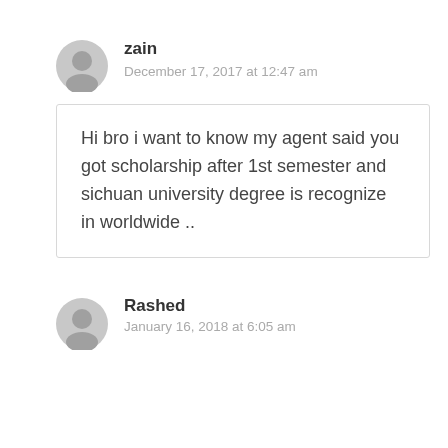zain
December 17, 2017 at 12:47 am
Hi bro i want to know my agent said you got scholarship after 1st semester and sichuan university degree is recognize in worldwide ..
Rashed
January 16, 2018 at 6:05 am